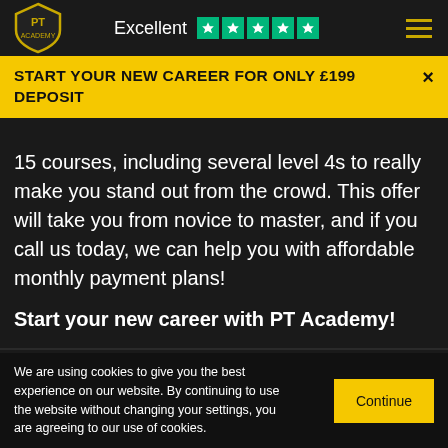Excellent ★★★★★
START YOUR NEW CAREER FOR ONLY £199 DEPOSIT
15 courses, including several level 4s to really make you stand out from the crowd. This offer will take you from novice to master, and if you call us today, we can help you with affordable monthly payment plans!
Start your new career with PT Academy!
FIND OUT MORE
We are using cookies to give you the best experience on our website. By continuing to use the website without changing your settings, you are agreeing to our use of cookies.